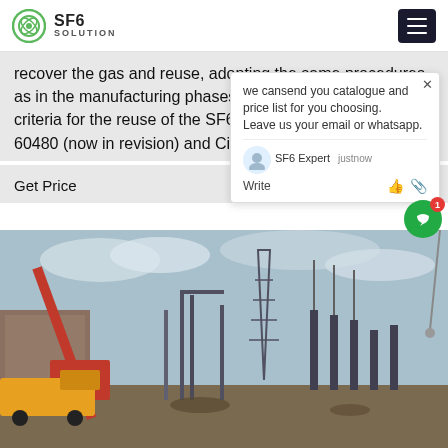SF6 SOLUTION
recover the gas and reuse, adopting the same procedures as in the manufacturing phases. The procedures and the criteria for the reuse of the SF6 gas are given by IEC 60480 (now in revision) and Cigre guide [9].
Get Price
[Figure (photo): Construction site with a large red crane and electrical substation infrastructure under a cloudy blue sky. Yellow truck visible on the left side.]